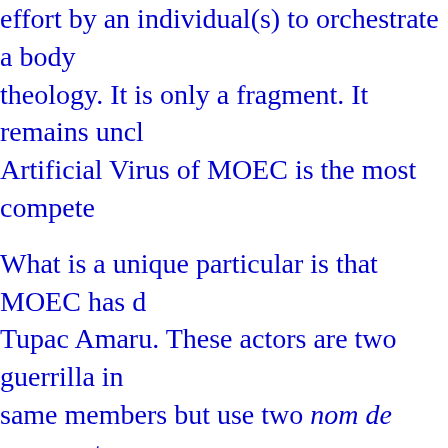effort by an individual(s) to orchestrate a body theology. It is only a fragment. It remains uncl Artificial Virus of MOEC is the most compete
What is a unique particular is that MOEC has d Tupac Amaru. These actors are two guerrilla in same members but use two nom de guerras to
A very unique observation is the construction o position of Southern California white suprema everyone down. Metzger's original platform wa was welcomed by the Aryan Skinhead Punks.
In continuation, The Jerry Springer Show was and attempts at social enlightenment. Needless
I had originally inserted these positions in my last two issues have been sustained.